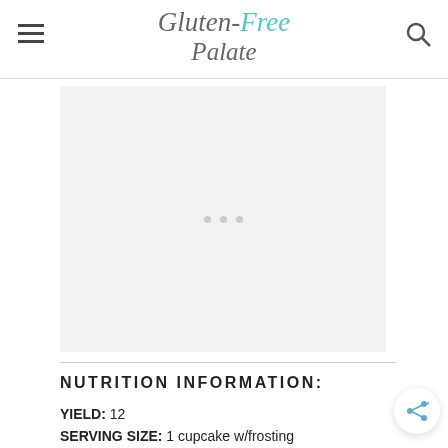Gluten-Free Palate
[Figure (other): Advertisement placeholder with three gray dots on light gray background]
NUTRITION INFORMATION:
YIELD: 12
SERVING SIZE: 1 cupcake w/frosting